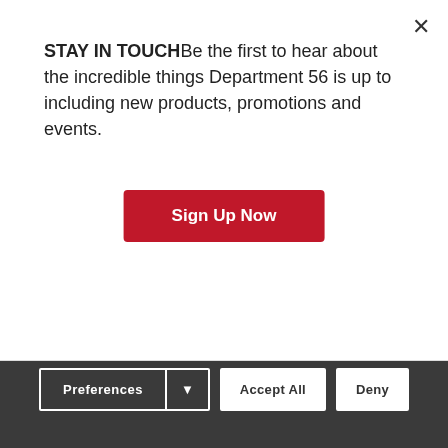STAY IN TOUCHBe the first to hear about the incredible things Department 56 is up to including new products, promotions and events.
Sign Up Now
Van Guilders Boat Weathervane
$5.00
★★★★★ 1 Review
Red Plastic Bows (Set of 3)
$4.95
★★★★☆ 4 Reviews
This website uses cookies to improve your experience.
Preferences
Accept All
Deny